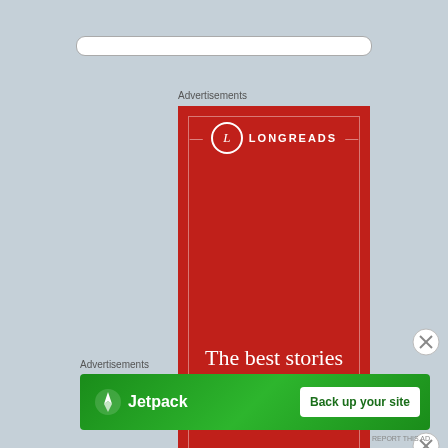[Figure (screenshot): Browser search/address bar at the top of the page]
Advertisements
[Figure (illustration): Longreads advertisement banner — red background with Longreads logo at top and tagline text 'The best stories on the web — ours,' in white serif font]
Advertisements
[Figure (illustration): Jetpack advertisement banner — green background with Jetpack logo on left and 'Back up your site' white button on right]